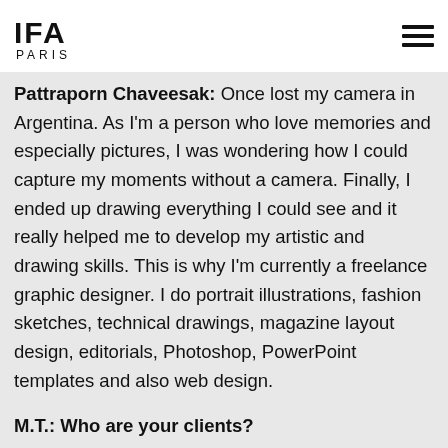IFA PARIS
Pattraporn Chaveesak: Once lost my camera in Argentina. As I'm a person who love memories and especially pictures, I was wondering how I could capture my moments without a camera. Finally, I ended up drawing everything I could see and it really helped me to develop my artistic and drawing skills. This is why I'm currently a freelance graphic designer. I do portrait illustrations, fashion sketches, technical drawings, magazine layout design, editorials, Photoshop, PowerPoint templates and also web design.
M.T.: Who are your clients?